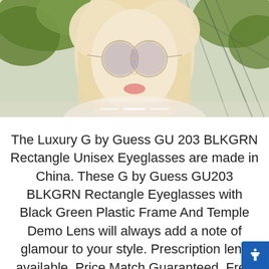[Figure (photo): A young blonde woman wearing decorative round sunglasses outdoors, with greenery and a fence visible in the background. A carousel indicator with three dots is visible at the bottom of the image.]
The Luxury G by Guess GU 203 BLKGRN Rectangle Unisex Eyeglasses are made in China. These G by Guess GU203 BLKGRN Rectangle Eyeglasses with Black Green Plastic Frame And Temple Demo Lens will always add a note of glamour to your style. Prescription lens available. Price Match Guaranteed. Free Shipping and